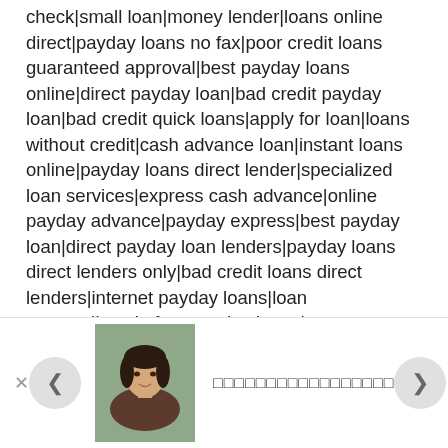check|small loan|money lender|loans online direct|payday loans no fax|poor credit loans guaranteed approval|best payday loans online|direct payday loan|bad credit payday loan|bad credit quick loans|apply for loan|loans without credit|cash advance loan|instant loans online|payday loans direct lender|specialized loan services|express cash advance|online payday advance|payday express|best payday loan|direct payday loan lenders|payday loans direct lenders only|bad credit loans direct lenders|internet payday loans|loan express|hassle free payday loans|near me|finance|mortgage|loan|loans|advance|cash|personal|fast|the best|lending|apply for|payday|bad credit|payday loans|home loans|car loan|personal loans|consolidation|speedy|loans login|refinance|long term|credit check|best credit|no credit|debt consolidation|debt relief|money online|no credit check|apply online|checking account|payday loan|lendingtree|short term|loans online|payday lending|loans for bad credit|loan rates|home loan|loan payment|speedy cash|personal loan|cash advance|installment|consolidation loans|online cash|lending tree|loans no credit|loans no credit check|quicken loans login|same day|home equity loan|ace cash|cash express|quick easy|credit
[Figure (photo): Profile photo of a young woman with dark hair, wearing a dark red/brown top, shown from the waist up against a blurred outdoor background.]
□□□□□□□□□□□□□□□□□